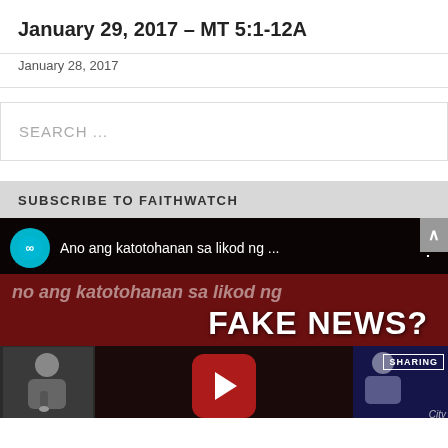January 29, 2017 – MT 5:1-12A
January 28, 2017
SEARCH ...
SUBSCRIBE TO FAITHWATCH
[Figure (screenshot): YouTube video thumbnail showing 'Ano ang katotohanan sa likod ng ...' with 'FAKE NEWS?' text overlay, play button, and channel avatar. Bottom shows two person thumbnails and SHARING badge.]